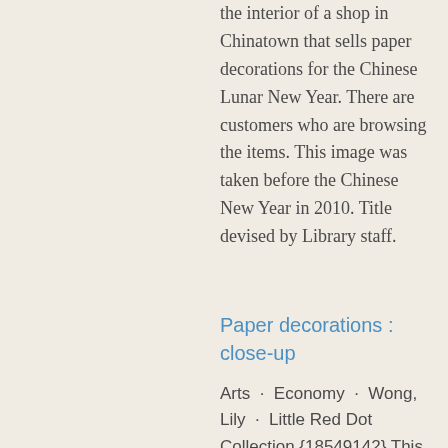the interior of a shop in Chinatown that sells paper decorations for the Chinese Lunar New Year. There are customers who are browsing the items. This image was taken before the Chinese New Year in 2010. Title devised by Library staff.
Paper decorations : close-up
Arts · Economy · Wong, Lily · Little Red Dot Collection {18549142} This 2010 photograph shows Lunar New Year paper